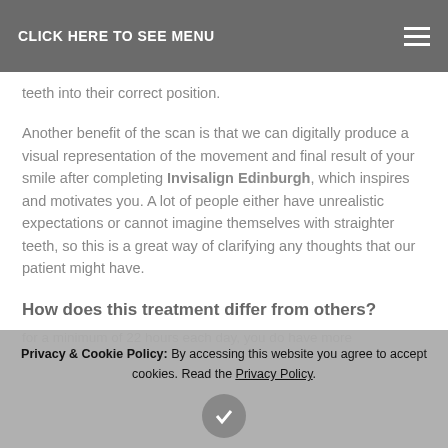CLICK HERE TO SEE MENU
teeth into their correct position.
Another benefit of the scan is that we can digitally produce a visual representation of the movement and final result of your smile after completing Invisalign Edinburgh, which inspires and motivates you. A lot of people either have unrealistic expectations or cannot imagine themselves with straighter teeth, so this is a great way of clarifying any thoughts that our patient might have.
How does this treatment differ from others?
Privacy & Cookie Policy: By accessing this website you agree to accept cookies. Read the Privacy Policy.
for a minimum of 22 hours each day, you do have more